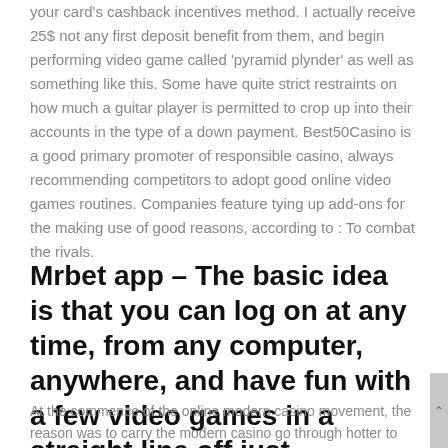your card's cashback incentives method. I actually receive 25$ not any first deposit benefit from them, and begin performing video game called 'pyramid plynder' as well as something like this. Some have quite strict restraints on how much a guitar player is permitted to crop up into their accounts in the type of a down payment. Best50Casino is a good primary promoter of responsible casino, always recommending competitors to adopt good online video games routines. Companies feature tying up add-ons for the making use of good reasons, according to : To combat the rivals.
Mrbet app – The basic idea is that you can log on at any time, from any computer, anywhere, and have fun with a few video games in a straight line off just
At the commence of the online modern casino movement, the reason was to carry the modern casino go through hotter to